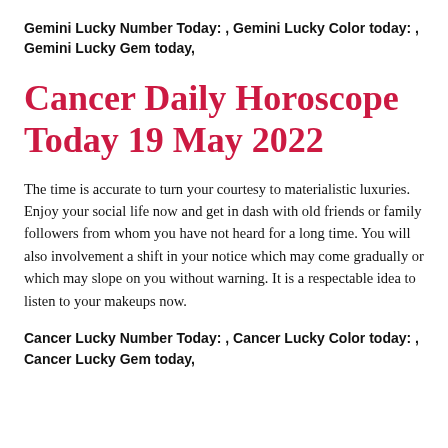Gemini Lucky Number Today: , Gemini Lucky Color today: , Gemini Lucky Gem today,
Cancer Daily Horoscope Today 19 May 2022
The time is accurate to turn your courtesy to materialistic luxuries. Enjoy your social life now and get in dash with old friends or family followers from whom you have not heard for a long time. You will also involvement a shift in your notice which may come gradually or which may slope on you without warning. It is a respectable idea to listen to your makeups now.
Cancer Lucky Number Today: , Cancer Lucky Color today: , Cancer Lucky Gem today,